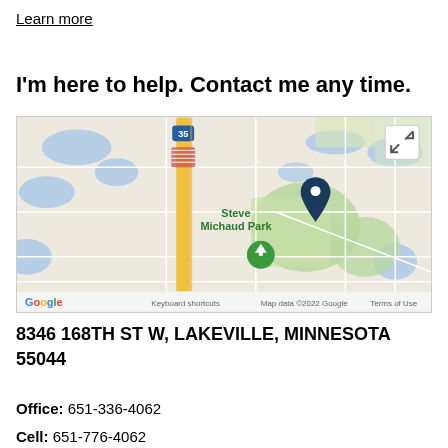Learn more
I'm here to help. Contact me any time.
[Figure (map): Google Maps screenshot showing Steve Michaud Park area in Lakeville, Minnesota with a location pin. Shows Interstate 35 on the left, street grid, water features, and green park areas. Google logo and map attribution visible at bottom.]
8346 168TH ST W, LAKEVILLE, MINNESOTA 55044
Office: 651-336-4062
Cell: 651-776-4062